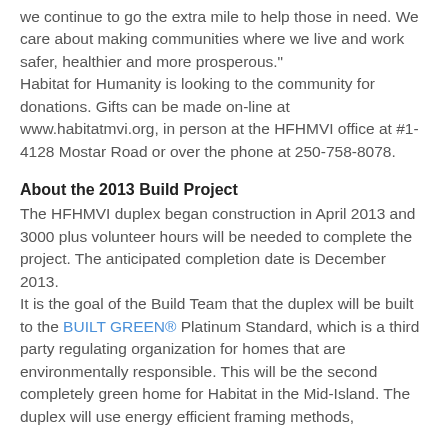we continue to go the extra mile to help those in need. We care about making communities where we live and work safer, healthier and more prosperous." Habitat for Humanity is looking to the community for donations. Gifts can be made on-line at www.habitatmvi.org, in person at the HFHMVI office at #1-4128 Mostar Road or over the phone at 250-758-8078.
About the 2013 Build Project
The HFHMVI duplex began construction in April 2013 and 3000 plus volunteer hours will be needed to complete the project. The anticipated completion date is December 2013. It is the goal of the Build Team that the duplex will be built to the BUILT GREEN® Platinum Standard, which is a third party regulating organization for homes that are environmentally responsible. This will be the second completely green home for Habitat in the Mid-Island. The duplex will use energy efficient framing methods,